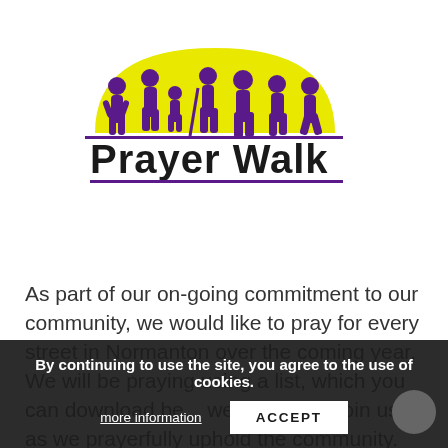[Figure (logo): Prayer Walk logo: yellow semicircle sun with purple silhouettes of people walking, text 'Prayer Walk' in bold black with purple underline]
As part of our on-going commitment to our community, we would like to pray for every street in Normanton over the coming year. We will be praying using a list, which you can download be [obscured] week. Please join us as we prayerfully uphold the community. You may also want to
By continuing to use the site, you agree to the use of cookies.
more information
ACCEPT